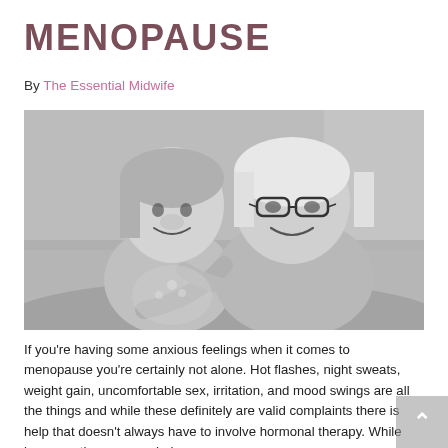MENOPAUSE
By The Essential Midwife
[Figure (photo): Black and white photo of a young girl and an older woman with glasses smiling and hugging each other on a couch.]
If you're having some anxious feelings when it comes to menopause you're certainly not alone. Hot flashes, night sweats, weight gain, uncomfortable sex, irritation, and mood swings are all the things and while these definitely are valid complaints there is help that doesn't always have to involve hormonal therapy. While hormone therapy may help some